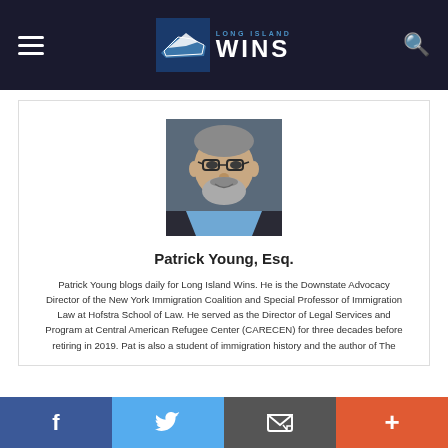Long Island Wins
[Figure (photo): Headshot photo of Patrick Young, Esq. — a middle-aged man with gray hair, beard, and glasses, wearing a blue shirt and dark jacket]
Patrick Young, Esq.
Patrick Young blogs daily for Long Island Wins. He is the Downstate Advocacy Director of the New York Immigration Coalition and Special Professor of Immigration Law at Hofstra School of Law. He served as the Director of Legal Services and Program at Central American Refugee Center (CARECEN) for three decades before retiring in 2019. Pat is also a student of immigration history and the author of The
f  (Facebook)  |  Twitter  |  Email  |  +